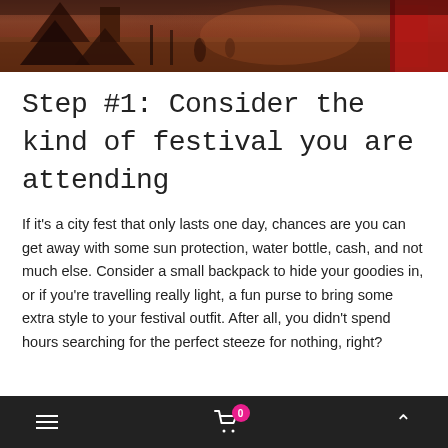[Figure (photo): Panoramic outdoor festival scene with red structure on right, camping equipment and tents silhouetted against a brown/red dusty ground backdrop]
Step #1: Consider the kind of festival you are attending
If it's a city fest that only lasts one day, chances are you can get away with some sun protection, water bottle, cash, and not much else. Consider a small backpack to hide your goodies in, or if you're travelling really light, a fun purse to bring some extra style to your festival outfit. After all, you didn't spend hours searching for the perfect steeze for nothing, right?
Navigation bar with hamburger menu, shopping cart with badge showing 0, and up arrow